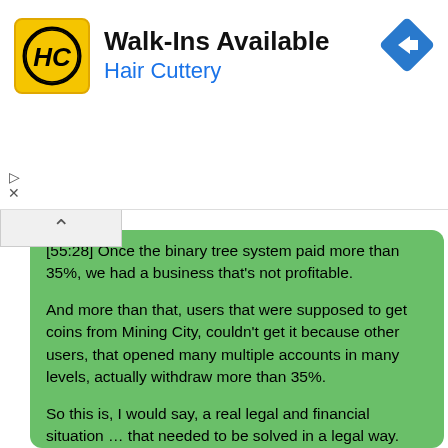[Figure (logo): Hair Cuttery advertisement banner with HC logo in yellow square, text 'Walk-Ins Available' and 'Hair Cuttery' in blue, and a blue navigation diamond arrow icon top-right]
[55:28] Once the binary tree system paid more than 35%, we had a business that's not profitable.

And more than that, users that were supposed to get coins from Mining City, couldn't get it because other users, that opened many multiple accounts in many levels, actually withdraw more than 35%.

So this is, I would say, a real legal and financial situation … that needed to be solved in a legal way.

And the solution that came out for Mining City team, is that to merge the multiple accounts into one account.

[39:49] This is the most legal move that they d…